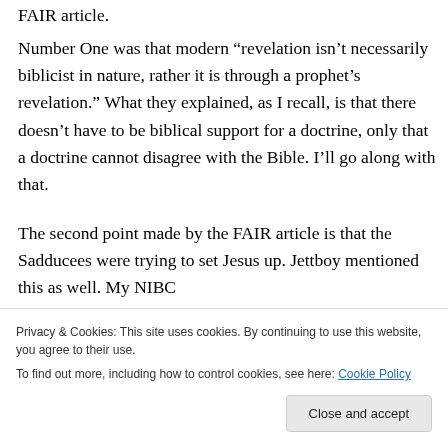FAIR article.
Number One was that modern “revelation isn’t necessarily biblicist in nature, rather it is through a prophet’s revelation.” What they explained, as I recall, is that there doesn’t have to be biblical support for a doctrine, only that a doctrine cannot disagree with the Bible. I’ll go along with that.
The second point made by the FAIR article is that the Sadducees were trying to set Jesus up. Jettboy mentioned this as well. My NIBC
Privacy & Cookies: This site uses cookies. By continuing to use this website, you agree to their use.
To find out more, including how to control cookies, see here: Cookie Policy
Close and accept
Like